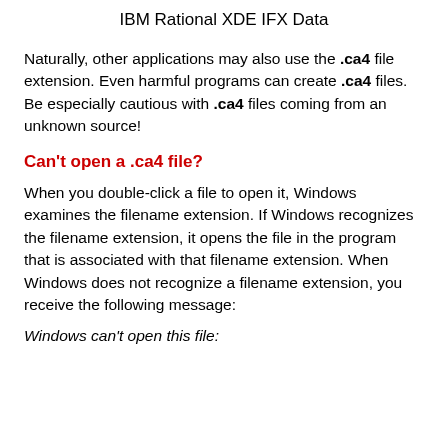IBM Rational XDE IFX Data
Naturally, other applications may also use the .ca4 file extension. Even harmful programs can create .ca4 files. Be especially cautious with .ca4 files coming from an unknown source!
Can't open a .ca4 file?
When you double-click a file to open it, Windows examines the filename extension. If Windows recognizes the filename extension, it opens the file in the program that is associated with that filename extension. When Windows does not recognize a filename extension, you receive the following message:
Windows can't open this file: